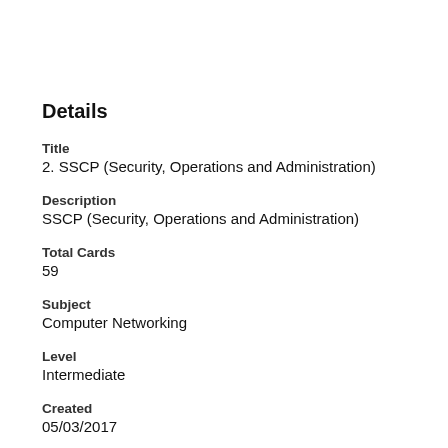Details
Title
2. SSCP (Security, Operations and Administration)
Description
SSCP (Security, Operations and Administration)
Total Cards
59
Subject
Computer Networking
Level
Intermediate
Created
05/03/2017